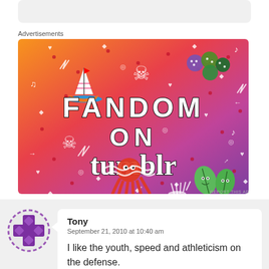[Figure (illustration): Tumblr 'Fandom on Tumblr' advertisement banner with colorful gradient background (orange to purple), featuring illustrated icons (sailboat, skull, octopus, leaves, dice) and bold text 'FANDOM ON tumblr']
Advertisements
REPORT THIS AD
Tony
September 21, 2010 at 10:40 am

I like the youth, speed and athleticism on the defense.